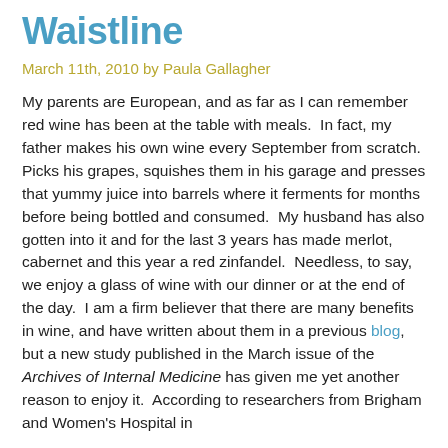Waistline
March 11th, 2010 by Paula Gallagher
My parents are European, and as far as I can remember  red wine has been at the table with meals.  In fact, my father makes his own wine every September from scratch.  Picks his grapes, squishes them in his garage and presses that yummy juice into barrels where it ferments for months before being bottled and consumed.  My husband has also gotten into it and for the last 3 years has made merlot, cabernet and this year a red zinfandel.  Needless, to say, we enjoy a glass of wine with our dinner or at the end of the day.  I am a firm believer that there are many benefits in wine, and have written about them in a previous blog, but a new study published in the March issue of the Archives of Internal Medicine has given me yet another reason to enjoy it.  According to researchers from Brigham and Women's Hospital in